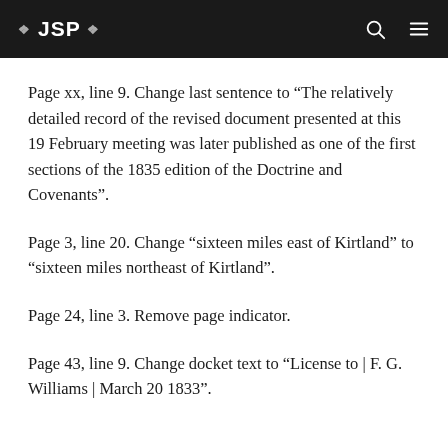❖ JSP ❖
Page xx, line 9. Change last sentence to “The relatively detailed record of the revised document presented at this 19 February meeting was later published as one of the first sections of the 1835 edition of the Doctrine and Covenants”.
Page 3, line 20. Change “sixteen miles east of Kirtland” to “sixteen miles northeast of Kirtland”.
Page 24, line 3. Remove page indicator.
Page 43, line 9. Change docket text to “License to | F. G. Williams | March 20 1833”.